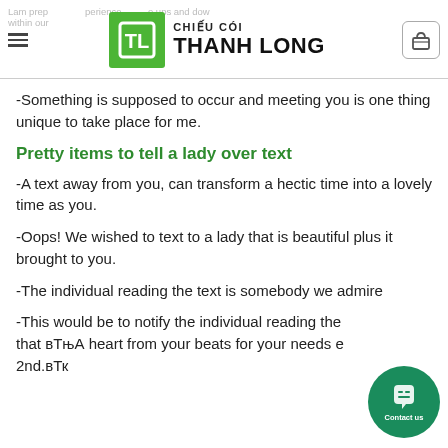CHIẾU CÓI THANH LONG
-Something is supposed to occur and meeting you is one thing unique to take place for me.
Pretty items to tell a lady over text
-A text away from you, can transform a hectic time into a lovely time as you.
-Oops! We wished to text to a lady that is beautiful plus it brought to you.
-The individual reading the text is somebody we admire
-This would be to notify the individual reading the that вТњА heart from your beats for your needs e 2nd.вТк